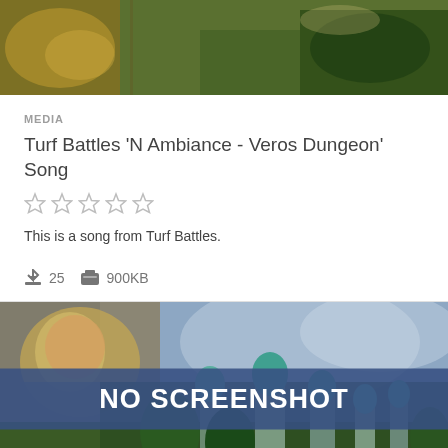[Figure (screenshot): Top portion of a game screenshot showing a fantasy map/terrain with gold and green colors]
MEDIA
Turf Battles 'N Ambiance - Veros Dungeon' Song
[Figure (other): Five empty/unrated star icons]
This is a song from Turf Battles.
25   900KB
[Figure (screenshot): Game screenshot placeholder showing NO SCREENSHOT text over a fantasy character and castle background]